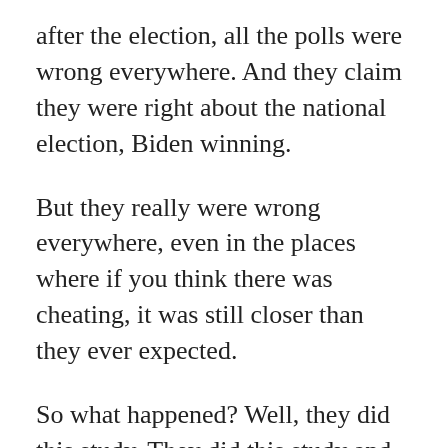after the election, all the polls were wrong everywhere. And they claim they were right about the national election, Biden winning.
But they really were wrong everywhere, even in the places where if you think there was cheating, it was still closer than they ever expected.
So what happened? Well, they did this study. They did this study and analysis of what happened. And what they've come up with is maybe some people didn't answer. So maybe some people just didn't answer the polls, like they just didn't know what they — they either didn't answer, couldn't reach them, or they